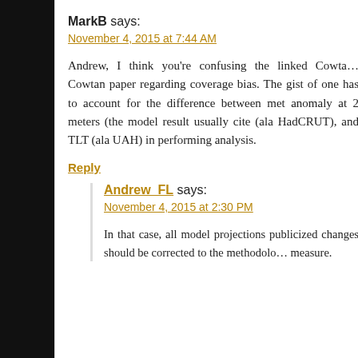MarkB says:
November 4, 2015 at 7:44 AM
Andrew, I think you're confusing the linked Cowtan paper regarding coverage bias. The gist of one has to account for the difference between met anomaly at 2 meters (the model result usually cited (ala HadCRUT), and TLT (ala UAH) in performing analysis.
Reply
Andrew_FL says:
November 4, 2015 at 2:30 PM
In that case, all model projections publicized changes should be corrected to the methodology measure.